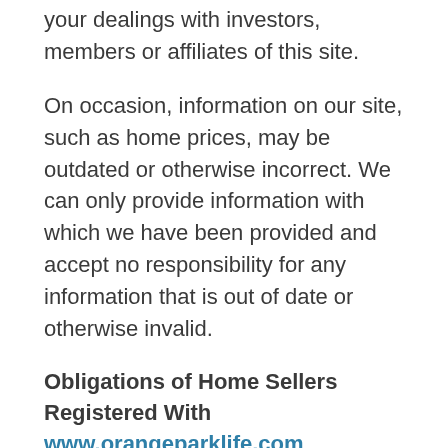your dealings with investors, members or affiliates of this site.
On occasion, information on our site, such as home prices, may be outdated or otherwise incorrect. We can only provide information with which we have been provided and accept no responsibility for any information that is out of date or otherwise invalid.
Obligations of Home Sellers Registered With www.orangeparklife.com
By completing the home information form on this site, you agree that:
You are of legal age and are otherwise capable of forming a legally binding contract;